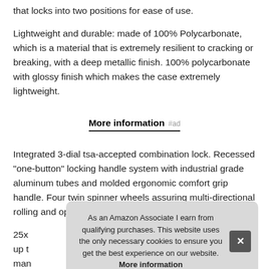that locks into two positions for ease of use.
Lightweight and durable: made of 100% Polycarbonate, which is a material that is extremely resilient to cracking or breaking, with a deep metallic finish. 100% polycarbonate with glossy finish which makes the case extremely lightweight.
More information #ad
Integrated 3-dial tsa-accepted combination lock. Recessed "one-button" locking handle system with industrial grade aluminum tubes and molded ergonomic comfort grip handle. Four twin spinner wheels assuring multi-directional rolling and opti
25x... up t... man...
As an Amazon Associate I earn from qualifying purchases. This website uses the only necessary cookies to ensure you get the best experience on our website. More information